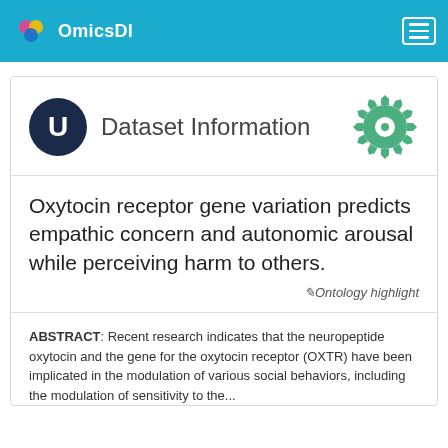OmicsDI
Dataset Information
Oxytocin receptor gene variation predicts empathic concern and autonomic arousal while perceiving harm to others.
Ontology highlight
ABSTRACT: Recent research indicates that the neuropeptide oxytocin and the gene for the oxytocin receptor (OXTR) have been implicated in the modulation of various social behaviors, including the modulation of sensitivity to the...